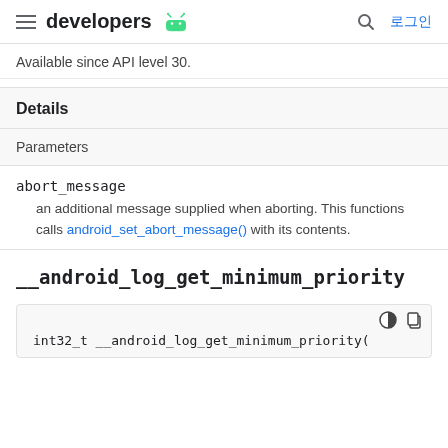developers  로그인
Available since API level 30.
Details
Parameters
abort_message
  an additional message supplied when aborting. This functions calls android_set_abort_message() with its contents.
__android_log_get_minimum_priority
int32_t __android_log_get_minimum_priority(